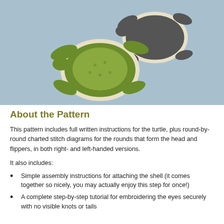[Figure (photo): Two crocheted sea turtles on a light blue background. One turtle is green with a cream/white shell border, the other is dark gray with a cream/white shell border. Both are flat amigurumi-style coaster/applique pieces.]
About the Pattern
This pattern includes full written instructions for the turtle, plus round-by-round charted stitch diagrams for the rounds that form the head and flippers, in both right- and left-handed versions.
It also includes:
Simple assembly instructions for attaching the shell (it comes together so nicely, you may actually enjoy this step for once!)
A complete step-by-step tutorial for embroidering the eyes securely with no visible knots or tails